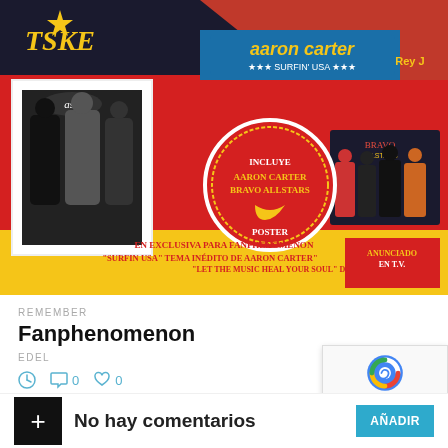[Figure (photo): Album cover collage for 'Fanphenomenon' featuring multiple pop artists including Aaron Carter, Ash, Take, Rey J, and Bravo Allstars on a red/yellow background. Center has a circular stamp reading 'INCLUYE AARON CARTER BRAVO ALLSTARS POSTER'. Bottom bar reads 'EN EXCLUSIVA PARA FANPHENOMENON' and 'SURFIN USA TEMA INEDITO DE AARON CARTER' / 'LET THE MUSIC HEAL YOUR SOUL DE BRAVO']
REMEMBER
Fanphenomenon
EDEL
0  0
No hay comentarios
AÑADIR